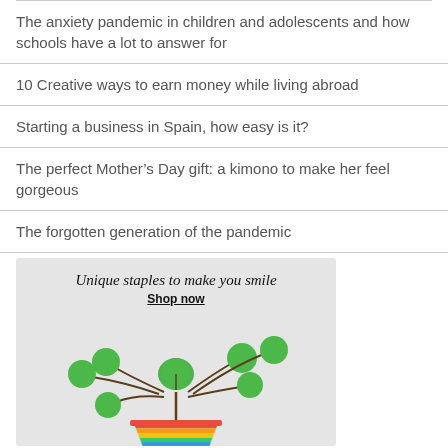The anxiety pandemic in children and adolescents and how schools have a lot to answer for
10 Creative ways to earn money while living abroad
Starting a business in Spain, how easy is it?
The perfect Mother's Day gift: a kimono to make her feel gorgeous
The forgotten generation of the pandemic
[Figure (photo): Advertisement banner with a colorful striped plant pot holding a pilea peperomioides plant, with text 'Unique staples to make you smile' and 'Shop now']